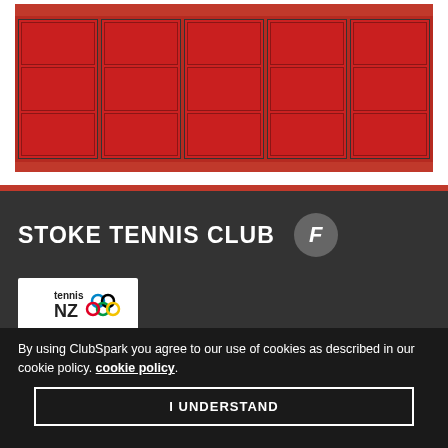[Figure (photo): A red notice board or honour board mounted on a wall, with multiple black-framed glass panels displaying white text/names. The board has a bold red frame.]
STOKE TENNIS CLUB
[Figure (logo): Tennis New Zealand logo — 'tennis NZ' text with coloured Olympic-style rings]
By using ClubSpark you agree to our use of cookies as described in our cookie policy. cookie policy.
I UNDERSTAND